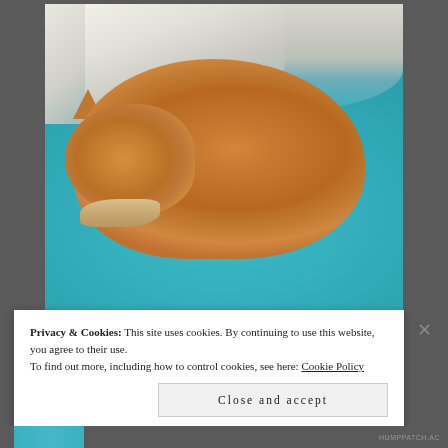[Figure (photo): An orange/ginger tabby cat curled up and resting on a bright teal/turquoise blanket or bedspread, with white pillows visible in the background. The cat's head rests near its front paws, looking slightly toward the camera.]
Privacy & Cookies: This site uses cookies. By continuing to use this website, you agree to their use.
To find out more, including how to control cookies, see here: Cookie Policy
Close and accept